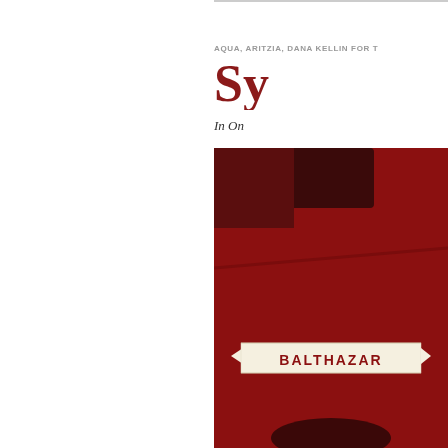AQUA, ARITZIA, DANA KELLIN FOR T
Sy
In On
[Figure (photo): Close-up photo of a red wine bottle or tin with a white ribbon banner label reading 'BALTHAZAR' in red letters against a dark red background]